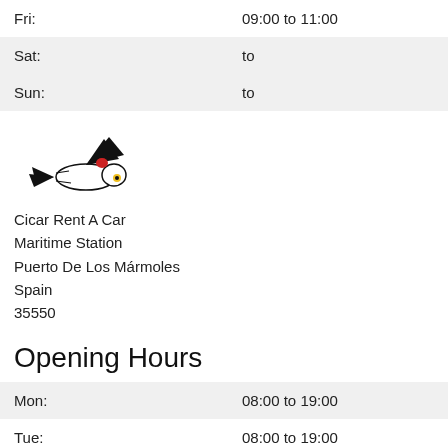| Fri: | 09:00 to 11:00 |
| Sat: | to |
| Sun: | to |
[Figure (logo): Cicar Rent A Car logo — stylized bird/fish figure in black with red and yellow accents]
Cicar Rent A Car
Maritime Station
Puerto De Los Mármoles
Spain
35550
Opening Hours
| Mon: | 08:00 to 19:00 |
| Tue: | 08:00 to 19:00 |
| Wed: | 08:00 to 19:00 |